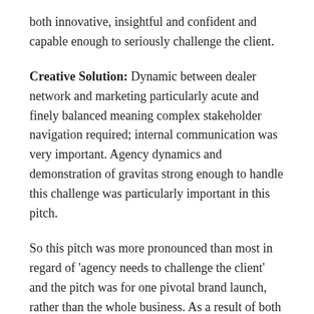both innovative, insightful and confident and capable enough to seriously challenge the client.
Creative Solution: Dynamic between dealer network and marketing particularly acute and finely balanced meaning complex stakeholder navigation required; internal communication was very important. Agency dynamics and demonstration of gravitas strong enough to handle this challenge was particularly important in this pitch.
So this pitch was more pronounced than most in regard of 'agency needs to challenge the client' and the pitch was for one pivotal brand launch, rather than the whole business. As a result of both of